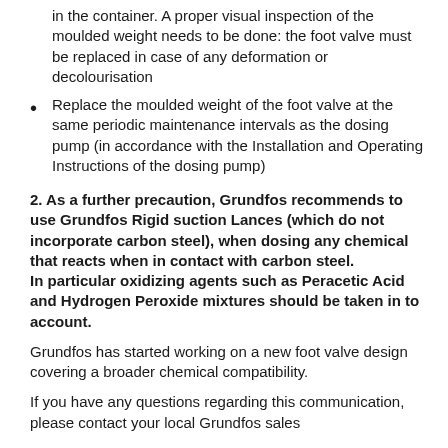in the container. A proper visual inspection of the moulded weight needs to be done: the foot valve must be replaced in case of any deformation or decolourisation
Replace the moulded weight of the foot valve at the same periodic maintenance intervals as the dosing pump (in accordance with the Installation and Operating Instructions of the dosing pump)
2. As a further precaution, Grundfos recommends to use Grundfos Rigid suction Lances (which do not incorporate carbon steel), when dosing any chemical that reacts when in contact with carbon steel.
In particular oxidizing agents such as Peracetic Acid and Hydrogen Peroxide mixtures should be taken in to account.
Grundfos has started working on a new foot valve design covering a broader chemical compatibility.
If you have any questions regarding this communication, please contact your local Grundfos sales